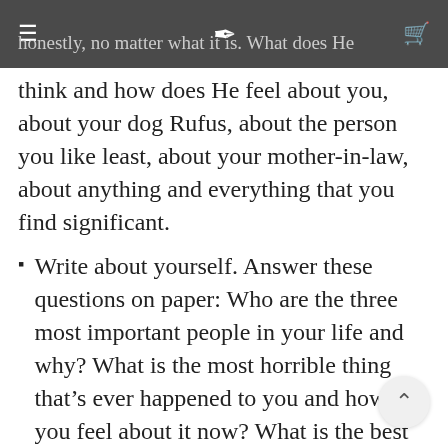Write what you believe or feel about God, honestly, no matter what it is. What does He
think and how does He feel about you, about your dog Rufus, about the person you like least, about your mother-in-law, about anything and everything that you find significant.
Write about yourself. Answer these questions on paper: Who are the three most important people in your life and why? What is the most horrible thing that's ever happened to you and how do you feel about it now? What is the best thing that's ever happened to you and what exactly made it so incredible? What are your weaknesses of character and personality, and what are your strengths? If you could change one thing about yourself